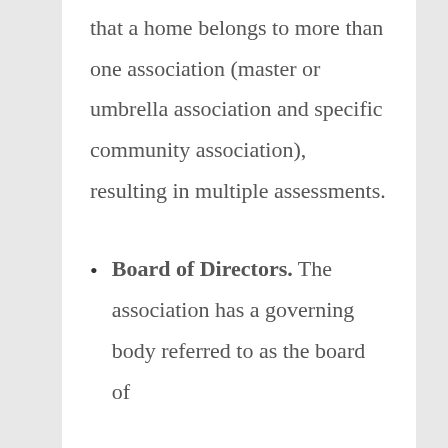that a home belongs to more than one association (master or umbrella association and specific community association), resulting in multiple assessments.
Board of Directors. The association has a governing body referred to as the board of directors, who are usually